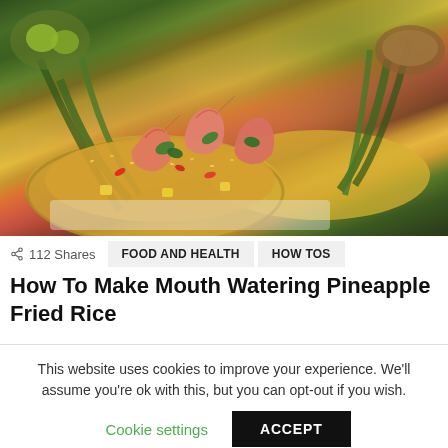[Figure (photo): Pineapple fried rice with shrimp served inside a hollowed pineapple shell, garnished with cilantro, red chilies, and vegetables on a white plate.]
112 Shares
FOOD AND HEALTH   HOW TOS
How To Make Mouth Watering Pineapple Fried Rice
This website uses cookies to improve your experience. We'll assume you're ok with this, but you can opt-out if you wish.
Cookie settings
ACCEPT